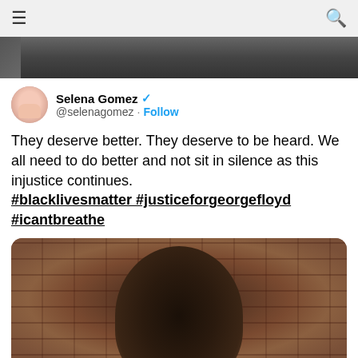[Figure (screenshot): Top navigation bar with hamburger menu on left and search icon on right, gray background]
[Figure (photo): Partial image strip at top of tweet content, black and white crowd photo]
Selena Gomez @selenagomez · Follow
They deserve better. They deserve to be heard. We all need to do better and not sit in silence as this injustice continues. #blacklivesmatter #justiceforgeorgefloyd #icantbreathe
[Figure (photo): Photo of George Floyd against a brick wall background, close-up portrait]